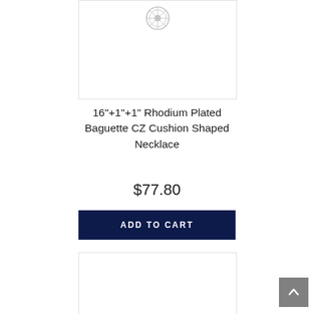[Figure (photo): Product image showing a small rhodium plated cushion shaped necklace pendant at the top]
16"+1"+1" Rhodium Plated Baguette CZ Cushion Shaped Necklace
$77.80
ADD TO CART
[Figure (photo): Second product image at the bottom, partially visible]